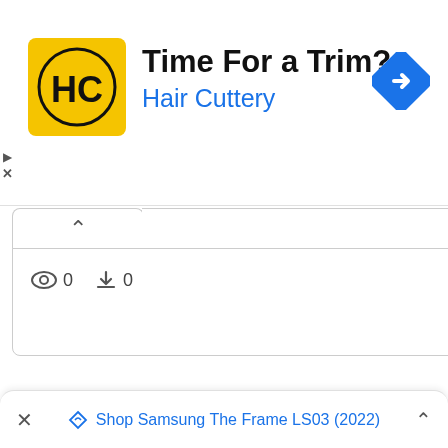[Figure (logo): Hair Cuttery advertisement banner with HC logo on yellow background, text 'Time For a Trim?' and 'Hair Cuttery' in blue, with a blue navigation/direction icon on the right]
[Figure (screenshot): UI panel with chevron-up icon and a tab, showing view count 0 and download count 0 with eye and download icons]
[Figure (infographic): Bottom ad bar with X close button, diamond/tag icon, text 'Shop Samsung The Frame LS03 (2022)' in blue, and chevron-up icon]